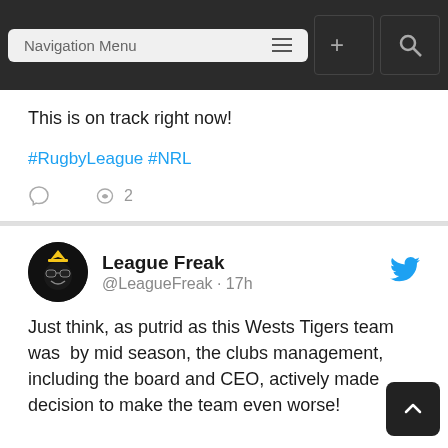Navigation Menu
This is on track right now!
#RugbyLeague #NRL
League Freak @LeagueFreak · 17h
Just think, as putrid as this Wests Tigers team was  by mid season, the clubs management, including the board and CEO, actively made decision to make the team even worse!

They have ALL got to go!
#RugbyLeague #NRL